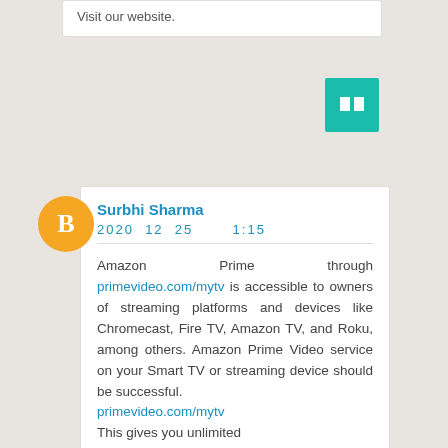Visit our website.
[Figure (other): Green square button with two small square icons (pause/menu symbol) in white]
[Figure (other): Orange circle Blogger avatar/profile icon with white B letter]
Surbhi Sharma
2020  12  25        1:15
Amazon Prime through primevideo.com/mytv is accessible to owners of streaming platforms and devices like Chromecast, Fire TV, Amazon TV, and Roku, among others. Amazon Prime Video service on your Smart TV or streaming device should be successful. primevideo.com/mytv This gives you unlimited